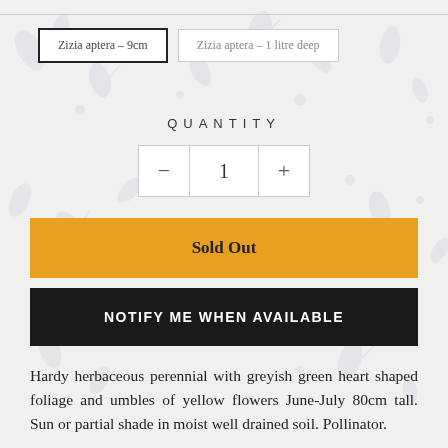Zizia aptera – 9cm
Zizia aptera – 1 litre deep
QUANTITY
- 1 +
Sold Out
NOTIFY ME WHEN AVAILABLE
Hardy herbaceous perennial with greyish green heart shaped foliage and umbles of yellow flowers June-July 80cm tall. Sun or partial shade in moist well drained soil. Pollinator.